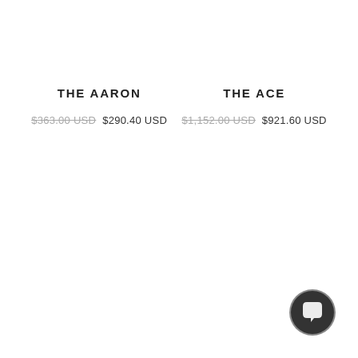THE AARON
$363.00 USD  $290.40 USD
THE ACE
$1,152.00 USD  $921.60 USD
[Figure (illustration): Dark circular chat/support button with speech bubble icon, positioned in lower-right corner]